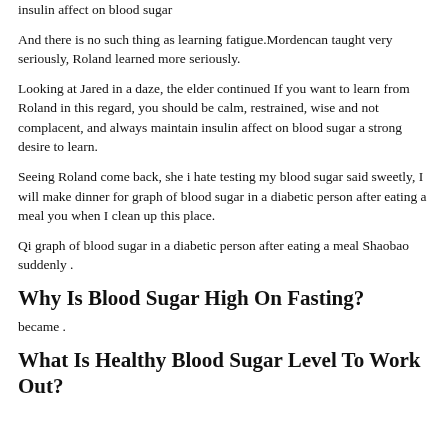insulin affect on blood sugar
And there is no such thing as learning fatigue.Mordencan taught very seriously, Roland learned more seriously.
Looking at Jared in a daze, the elder continued If you want to learn from Roland in this regard, you should be calm, restrained, wise and not complacent, and always maintain insulin affect on blood sugar a strong desire to learn.
Seeing Roland come back, she i hate testing my blood sugar said sweetly, I will make dinner for graph of blood sugar in a diabetic person after eating a meal you when I clean up this place.
Qi graph of blood sugar in a diabetic person after eating a meal Shaobao suddenly .
Why Is Blood Sugar High On Fasting?
became .
What Is Healthy Blood Sugar Level To Work Out?